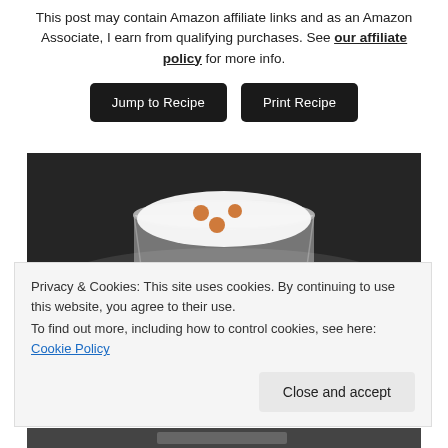This post may contain Amazon affiliate links and as an Amazon Associate, I earn from qualifying purchases. See our affiliate policy for more info.
[Figure (other): Two dark buttons: 'Jump to Recipe' and 'Print Recipe' on black rounded rectangle backgrounds]
[Figure (photo): A glass containing a white frothy drink (likely a Pisco Sour) with three orange/brown drops on the foam surface, placed on a dark background]
Privacy & Cookies: This site uses cookies. By continuing to use this website, you agree to their use.
To find out more, including how to control cookies, see here: Cookie Policy
[Figure (other): Close and accept button on a light gray rounded background]